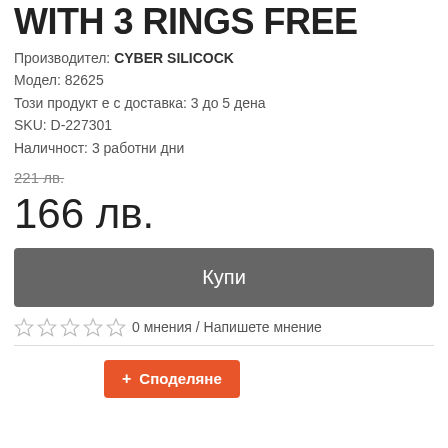WITH 3 RINGS FREE
Производител: CYBER SILICOCK
Модел: 82625
Този продукт е с доставка: 3 до 5 дена
SKU: D-227301
Наличност: 3 работни дни
221 лв.
166 лв.
Купи
0 мнения / Напишете мнение
Споделяне